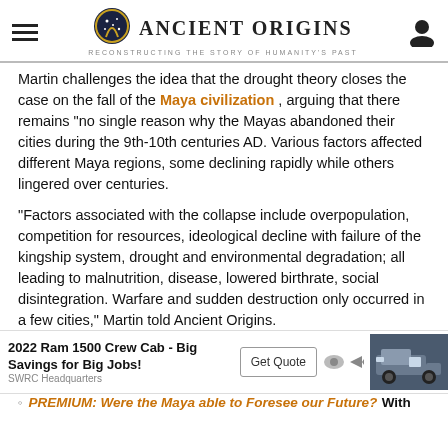Ancient Origins — Reconstructing the Story of Humanity's Past
Martin challenges the idea that the drought theory closes the case on the fall of the Maya civilization , arguing that there remains "no single reason why the Mayas abandoned their cities during the 9th-10th centuries AD. Various factors affected different Maya regions, some declining rapidly while others lingered over centuries.
"Factors associated with the collapse include overpopulation, competition for resources, ideological decline with failure of the kingship system, drought and environmental degradation; all leading to malnutrition, disease, lowered birthrate, social disintegration. Warfare and sudden destruction only occurred in a few cities," Martin told Ancient Origins.
Ancient Maya City Founded by a God and Conquered by a
[Figure (other): Advertisement: 2022 Ram 1500 Crew Cab - Big Savings for Big Jobs! SWRC Headquarters. Get Quote button and truck image.]
a Agronomists Changed the Modern World
PREMIUM: Were the Maya able to Foresee our Future? With